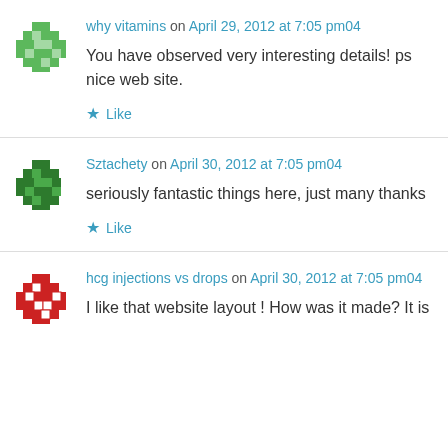[Figure (illustration): Green pixel/mosaic avatar icon for user 'why vitamins']
why vitamins on April 29, 2012 at 7:05 pm04
You have observed very interesting details! ps nice web site.
Like
[Figure (illustration): Dark green pixel/mosaic avatar icon for user 'Sztachety']
Sztachety on April 30, 2012 at 7:05 pm04
seriously fantastic things here, just many thanks
Like
[Figure (illustration): Red and white pixel/mosaic avatar icon for user 'hcg injections vs drops']
hcg injections vs drops on April 30, 2012 at 7:05 pm04
I like that website layout ! How was it made? It is